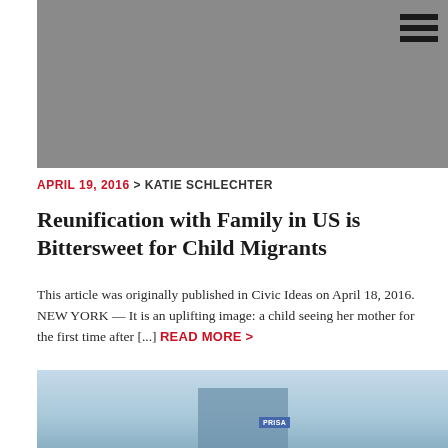[Figure (photo): Gray rectangular image placeholder at top of article]
APRIL 19, 2016 > KATIE SCHLECHTER
Reunification with Family in US is Bittersweet for Child Migrants
This article was originally published in Civic Ideas on April 18, 2016. NEW YORK — It is an uplifting image: a child seeing her mother for the first time after [...] READ MORE >
[Figure (photo): Bottom partial photo showing a building with a sign against a blue sky]